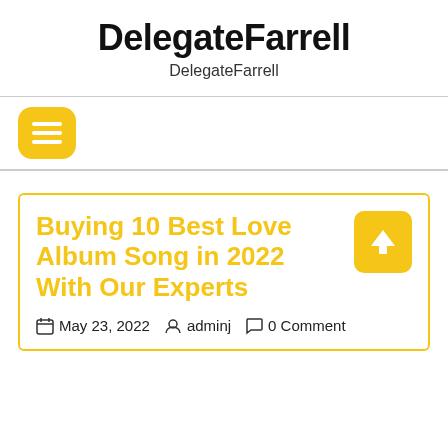DelegateFarrell
DelegateFarrell
[Figure (other): Yellow rounded square hamburger/menu button icon]
Buying 10 Best Love Album Song in 2022 With Our Experts
May 23, 2022   adminj   0 Comment